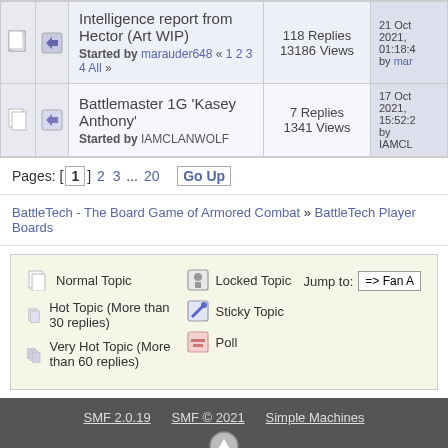|  |  | Topic | Stats | Last Post |
| --- | --- | --- | --- | --- |
| [icon] | [icon] | Intelligence report from Hector (Art WIP)
Started by marauder648 « 1 2 3 4 All » | 118 Replies
13186 Views | 21 Oct 2021, 01:18:4
by mar |
| [icon] | [icon] | Battlemaster 1G 'Kasey Anthony'
Started by IAMCLANWOLF | 7 Replies
1341 Views | 17 Oct 2021, 15:52:2
by IAMCL |
Pages: [1] 2 3 ... 20  Go Up
BattleTech - The Board Game of Armored Combat » BattleTech Player Boards
Normal Topic | Hot Topic (More than 30 replies) | Very Hot Topic (More than 60 replies) | Locked Topic | Sticky Topic | Poll | Jump to: => Fan A
SMF 2.0.19  SMF © 2021  Simple Machines